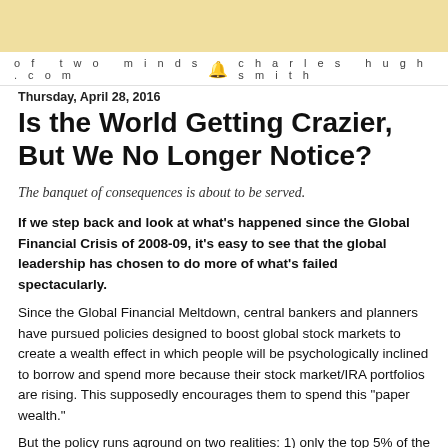of two minds.com  charles hugh smith
Thursday, April 28, 2016
Is the World Getting Crazier, But We No Longer Notice?
The banquet of consequences is about to be served.
If we step back and look at what's happened since the Global Financial Crisis of 2008-09, it's easy to see that the global leadership has chosen to do more of what's failed spectacularly.
Since the Global Financial Meltdown, central bankers and planners have pursued policies designed to boost global stock markets to create a wealth effect in which people will be psychologically inclined to borrow and spend more because their stock market/IRA portfolios are rising. This supposedly encourages them to spend this "paper wealth."
But the policy runs aground on two realities: 1) only the top 5% of the households own enough stocks to make a difference to their wealth (and their perception of wealth, i.e. the wealth effect), and 2) the